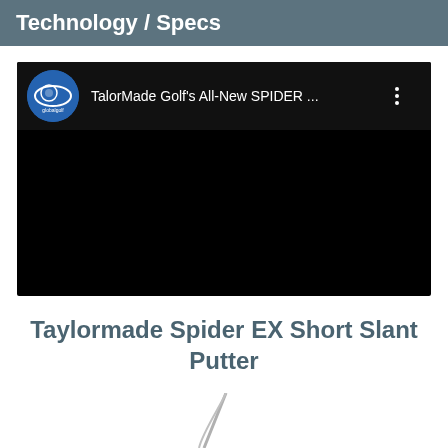Technology / Specs
[Figure (screenshot): Embedded YouTube video thumbnail showing 'TalorMade Golf's All-New SPIDER ...' with globalgolf channel logo on black background]
Taylormade Spider EX Short Slant Putter
[Figure (photo): Partial image of the Taylormade Spider EX Short Slant Putter at the bottom of the page]